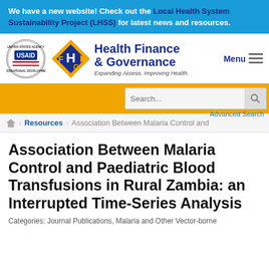We have a new website! Check out the Local Health System Sustainability Project (LHSS) for latest news and resources.
[Figure (logo): USAID United States Agency for International Development circular seal logo]
[Figure (logo): Health Finance & Governance HFG diamond logo with tagline Expanding Access. Improving Health.]
Menu
Search... Advanced Search
Home > Resources > Association Between Malaria Control and
Association Between Malaria Control and Paediatric Blood Transfusions in Rural Zambia: an Interrupted Time-Series Analysis
Categories: Journal Publications, Malaria and Other Vector-borne